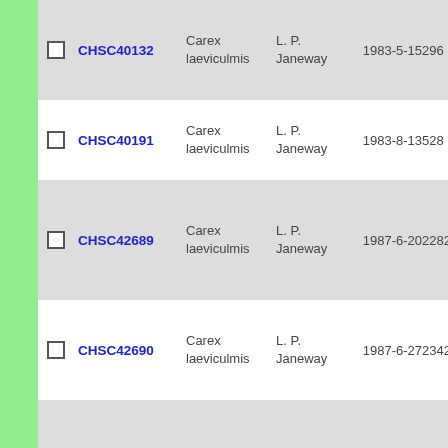|  | ID | Taxon | Collector | Date | Number |
| --- | --- | --- | --- | --- | --- |
| ☐ | CHSC40132 | Carex laeviculmis | L. P. Janeway | 1983-5-15 | 296 |
| ☐ | CHSC40191 | Carex laeviculmis | L. P. Janeway | 1983-8-13 | 528 |
| ☐ | CHSC42689 | Carex laeviculmis | L. P. Janeway | 1987-6-20 | 2282 |
| ☐ | CHSC42690 | Carex laeviculmis | L. P. Janeway | 1987-6-27 | 2342 |